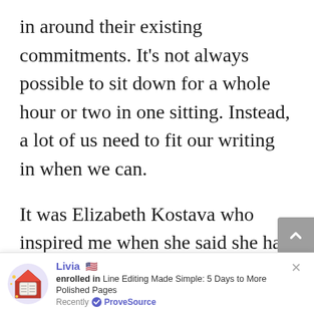in around their existing commitments. It's not always possible to sit down for a whole hour or two in one sitting. Instead, a lot of us need to fit our writing in when we can.
It was Elizabeth Kostava who inspired me when she said she had to write what she could when she could. This guide is full of practical and simple ways that you can slot writing sessions into your week.
[Figure (screenshot): ProveSource notification popup at the bottom of the page. Shows a book icon, user 'Livia' with US flag enrolled in 'Line Editing Made Simple: 5 Days to More Polished Pages', Recently verified by ProveSource. Has a close (x) button.]